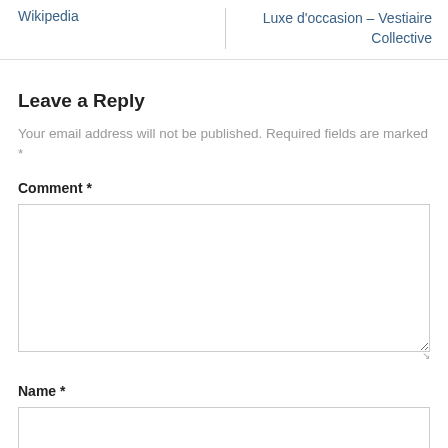Wikipedia
Luxe d'occasion – Vestiaire Collective
Leave a Reply
Your email address will not be published. Required fields are marked *
Comment *
Name *